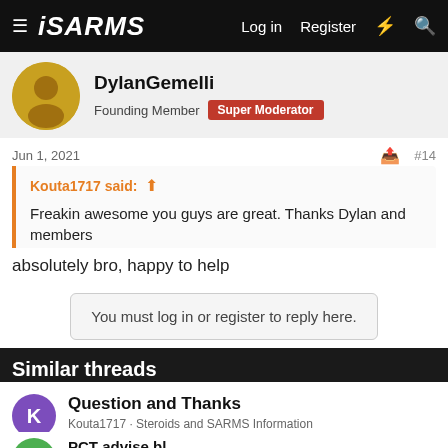ISARMS  Log in  Register
DylanGemelli
Founding Member  Super Moderator
Jun 1, 2021  #14
Kouta1717 said:
Freakin awesome you guys are great. Thanks Dylan and members
absolutely bro, happy to help
You must log in or register to reply here.
Similar threads
Question and Thanks
Kouta1717 · Steroids and SARMS Information
Replies: 7 · Jul 1, 2021
PCT advise bl...